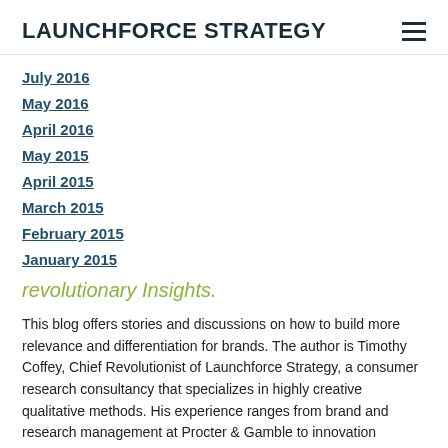LAUNCHFORCE STRATEGY
July 2016
May 2016
April 2016
May 2015
April 2015
March 2015
February 2015
January 2015
revolutionary Insights.
This blog offers stories and discussions on how to build more relevance and differentiation for brands. The author is Timothy Coffey, Chief Revolutionist of Launchforce Strategy, a consumer research consultancy that specializes in highly creative qualitative methods. His experience ranges from brand and research management at Procter & Gamble to innovation management at Tupperware to founding and leading an